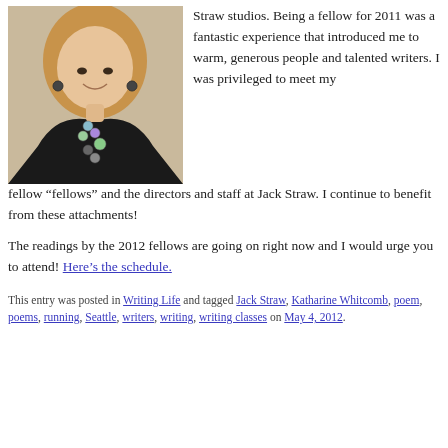[Figure (photo): Portrait photo of a smiling woman with blonde hair wearing a black top and a colorful beaded necklace]
Straw studios. Being a fellow for 2011 was a fantastic experience that introduced me to warm, generous people and talented writers. I was privileged to meet my fellow “fellows” and the directors and staff at Jack Straw. I continue to benefit from these attachments!
The readings by the 2012 fellows are going on right now and I would urge you to attend! Here’s the schedule.
This entry was posted in Writing Life and tagged Jack Straw, Katharine Whitcomb, poem, poems, running, Seattle, writers, writing, writing classes on May 4, 2012.